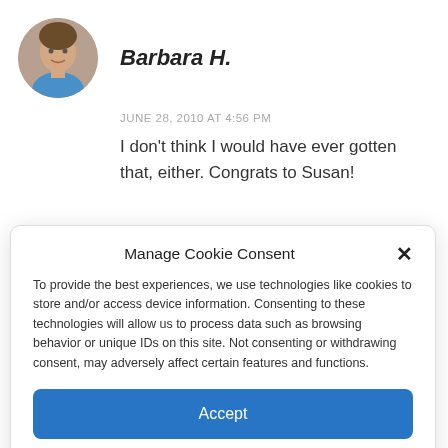[Figure (photo): Circular avatar photo of a woman wearing a blue shirt, smiling]
Barbara H.
JUNE 28, 2010 AT 4:56 PM
I don’t think I would have ever gotten that, either. Congrats to Susan!
Manage Cookie Consent
To provide the best experiences, we use technologies like cookies to store and/or access device information. Consenting to these technologies will allow us to process data such as browsing behavior or unique IDs on this site. Not consenting or withdrawing consent, may adversely affect certain features and functions.
Accept
Cookie Policy   Disclosure Policy